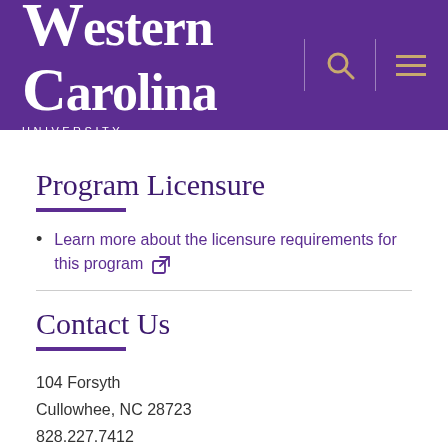[Figure (logo): Western Carolina University logo with purple background, white serif text, and gold search/menu icons]
Program Licensure
Learn more about the licensure requirements for this program
Contact Us
104 Forsyth
Cullowhee, NC 28723
828.227.7412
828.227.7075